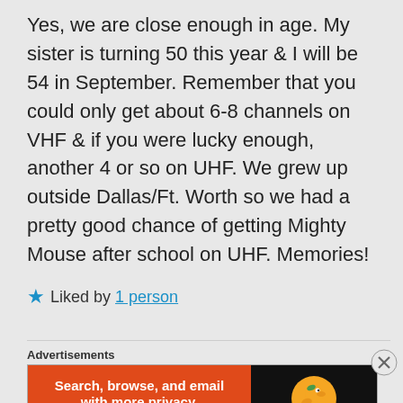Yes, we are close enough in age. My sister is turning 50 this year & I will be 54 in September. Remember that you could only get about 6-8 channels on VHF & if you were lucky enough, another 4 or so on UHF. We grew up outside Dallas/Ft. Worth so we had a pretty good chance of getting Mighty Mouse after school on UHF. Memories!
★ Liked by 1 person
Advertisements
[Figure (screenshot): DuckDuckGo advertisement banner: orange left section with text 'Search, browse, and email with more privacy. All in One Free App' and dark right section with DuckDuckGo duck logo and brand name.]